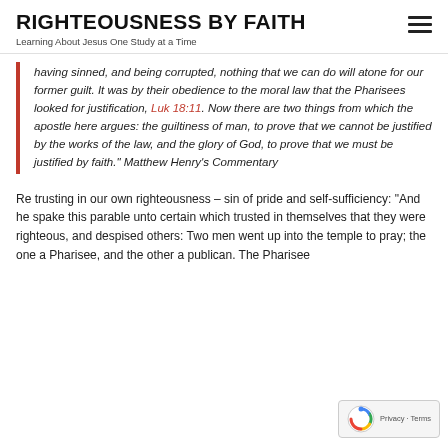RIGHTEOUSNESS BY FAITH
Learning About Jesus One Study at a Time
having sinned, and being corrupted, nothing that we can do will atone for our former guilt. It was by their obedience to the moral law that the Pharisees looked for justification, Luk 18:11. Now there are two things from which the apostle here argues: the guiltiness of man, to prove that we cannot be justified by the works of the law, and the glory of God, to prove that we must be justified by faith.” Matthew Henry’s Commentary
Re trusting in our own righteousness – sin of pride and self-sufficiency: “And he spake this parable unto certain which trusted in themselves that they were righteous, and despised others: Two men went up into the temple to pray; the one a Pharisee, and the other a publican. The Pharisee